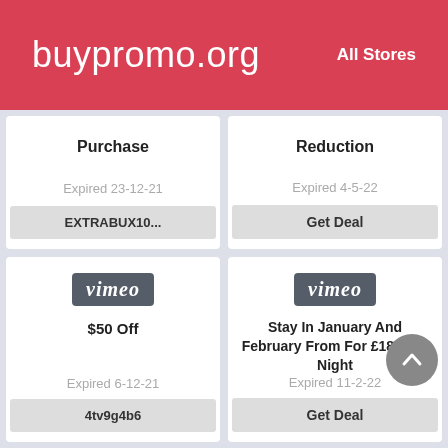buypromo.org   All Stores
Purchase
Expired 23-12-21
EXTRABUX10...
Reduction
Expired 4-5-22
Get Deal
[Figure (logo): Vimeo logo on grey background]
$50 Off
Expired 6-12-21
4tv9g4b6
[Figure (logo): Vimeo logo on grey background]
Stay In January And February From For £189 Per Night
Expired 11-2-22
Get Deal